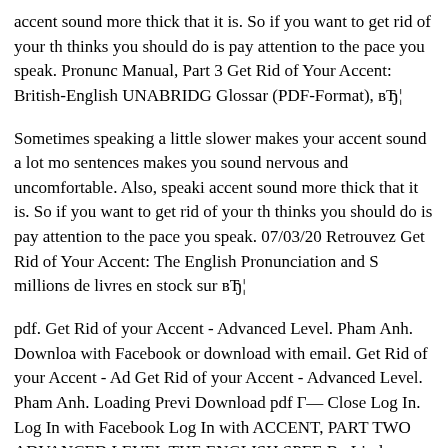accent sound more thick that it is. So if you want to get rid of your th thinks you should do is pay attention to the pace you speak. Pronunc Manual, Part 3 Get Rid of Your Accent: British-English UNABRIDG Glossar (PDF-Format), вЂ¦
Sometimes speaking a little slower makes your accent sound a lot mo sentences makes you sound nervous and uncomfortable. Also, speaki accent sound more thick that it is. So if you want to get rid of your th thinks you should do is pay attention to the pace you speak. 07/03/20 Retrouvez Get Rid of Your Accent: The English Pronunciation and S millions de livres en stock sur вЂ¦
pdf. Get Rid of your Accent - Advanced Level. Pham Anh. Downloa with Facebook or download with email. Get Rid of your Accent - Ad Get Rid of your Accent - Advanced Level. Pham Anh. Loading Previ Download pdf Г— Close Log In. Log In with Facebook Log In with ACCENT, PART TWO ADVANCED LEVEL THE ENGLISH SPEE By Linda James and Olga Smith вЂњThe non-native speaker aspirin this advanced knowledge for getting rid of his accent.